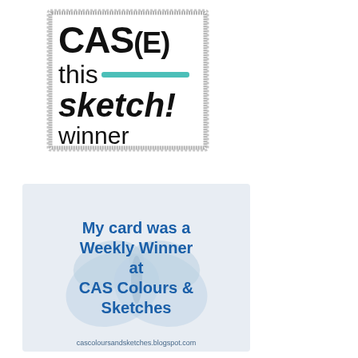[Figure (logo): CAS(E) This Sketch! Winner badge — a hand-drawn gray rectangle border containing bold black text 'CAS(E)', 'this', a teal horizontal line, bold black 'sketch!', and 'winner' in lighter weight]
[Figure (logo): CAS Colours & Sketches Weekly Winner badge — light blue-gray rectangle with blue butterfly watermark, blue bold text reading 'My card was a Weekly Winner at CAS Colours & Sketches', and URL cascoloursandsketches.blogspot.com at bottom]